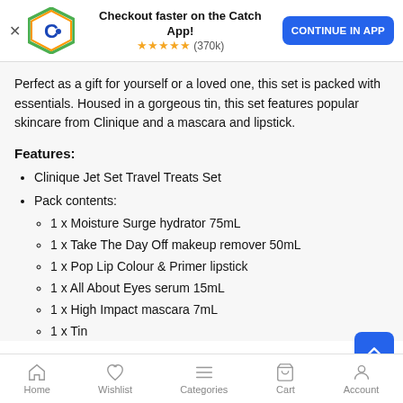Checkout faster on the Catch App! ★★★★★ (370k) CONTINUE IN APP
Perfect as a gift for yourself or a loved one, this set is packed with essentials. Housed in a gorgeous tin, this set features popular skincare from Clinique and a mascara and lipstick.
Features:
Clinique Jet Set Travel Treats Set
Pack contents:
1 x Moisture Surge hydrator 75mL
1 x Take The Day Off makeup remover 50mL
1 x Pop Lip Colour & Primer lipstick
1 x All About Eyes serum 15mL
1 x High Impact mascara 7mL
1 x Tin
Home  Wishlist  Categories  Cart  Account